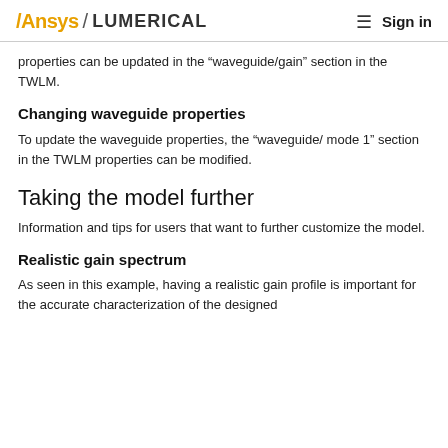Ansys / LUMERICAL   ☰ Sign in
properties can be updated in the “waveguide/gain” section in the TWLM.
Changing waveguide properties
To update the waveguide properties, the “waveguide/ mode 1” section in the TWLM properties can be modified.
Taking the model further
Information and tips for users that want to further customize the model.
Realistic gain spectrum
As seen in this example, having a realistic gain profile is important for the accurate characterization of the designed